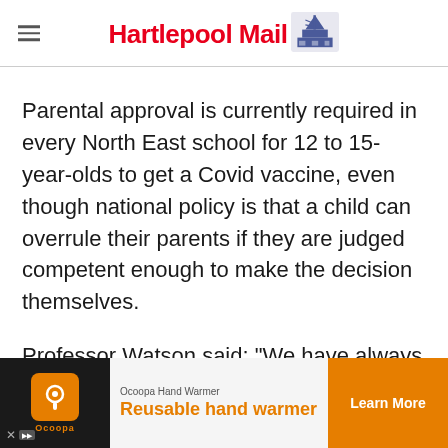Hartlepool Mail
Parental approval is currently required in every North East school for 12 to 15-year-olds to get a Covid vaccine, even though national policy is that a child can overrule their parents if they are judged competent enough to make the decision themselves.
Professor Watson said: “We have always been keen [on...] they can g[et a vaccine...]
[Figure (other): Advertisement banner: Ocoopa Hand Warmer - Reusable hand warmer, with Learn More button]